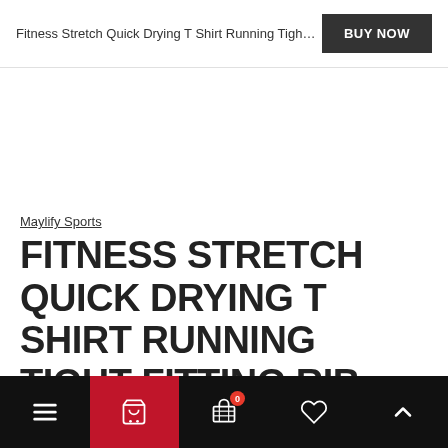Fitness Stretch Quick Drying T Shirt Running Tight Fi…
BUY NOW
Maylify Sports
FITNESS STRETCH QUICK DRYING T SHIRT RUNNING TIGHT FITTING RIB BOTTOM SHORT SLEEVED SPORTS YOGA TOP WOMEN
Navigation bar with menu, cart, checkout, wishlist, and scroll-up icons